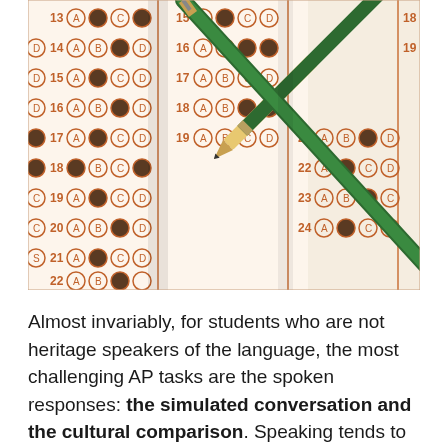[Figure (photo): Close-up photograph of a multiple-choice bubble sheet answer form with questions numbered 13-24, with a sharpened green pencil resting diagonally across the sheet. Several bubbles are filled in (darkened). The answer options are A, B, C, D printed in orange/brown ink.]
Almost invariably, for students who are not heritage speakers of the language, the most challenging AP tasks are the spoken responses: the simulated conversation and the cultural comparison. Speaking tends to be the least practiced skill in language programs for several reasons: emotions